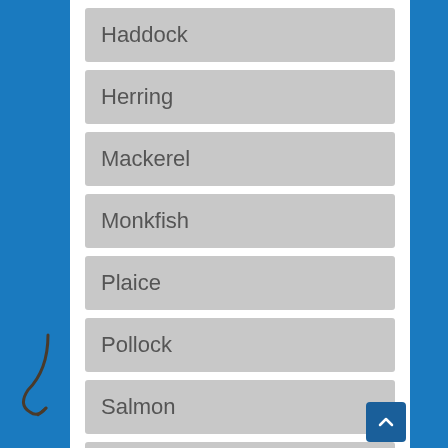Haddock
Herring
Mackerel
Monkfish
Plaice
Pollock
Salmon
Sardines
Sea Bass